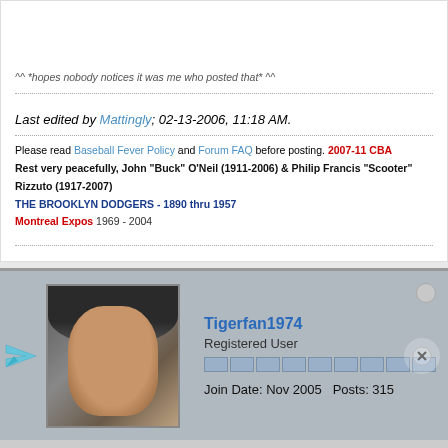^^ *hopes nobody notices it was me who posted that* ^^
Last edited by Mattingly; 02-13-2006, 11:18 AM.
Please read Baseball Fever Policy and Forum FAQ before posting. 2007-11 CBA
Rest very peacefully, John "Buck" O'Neil (1911-2006) & Philip Francis "Scooter" Rizzuto (1917-2007)
THE BROOKLYN DODGERS - 1890 thru 1957
Montreal Expos 1969 - 2004
Tigerfan1974
Registered User
Join Date: Nov 2005  Posts: 315